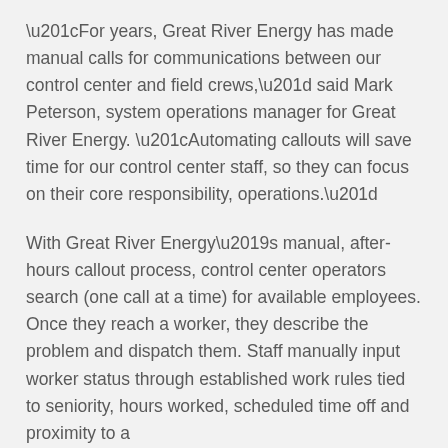“For years, Great River Energy has made manual calls for communications between our control center and field crews,” said Mark Peterson, system operations manager for Great River Energy. “Automating callouts will save time for our control center staff, so they can focus on their core responsibility, operations.”
With Great River Energy’s manual, after-hours callout process, control center operators search (one call at a time) for available employees. Once they reach a worker, they describe the problem and dispatch them. Staff manually input worker status through established work rules tied to seniority, hours worked, scheduled time off and proximity to a